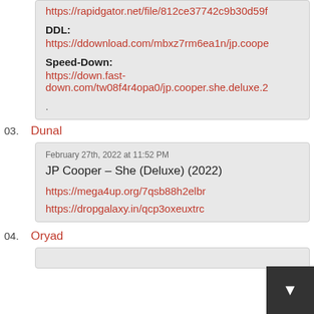https://rapidgator.net/file/812ce37742c9b30d59f...
DDL:
https://ddownload.com/mbxz7rm6ea1n/jp.coope...
Speed-Down:
https://down.fast-down.com/tw08f4r4opa0/jp.cooper.she.deluxe.2...
.
03.  Dunal
February 27th, 2022 at 11:52 PM
JP Cooper – She (Deluxe) (2022)
https://mega4up.org/7qsb88h2elbr
https://dropgalaxy.in/qcp3oxeuxtrc
04.  Oryad